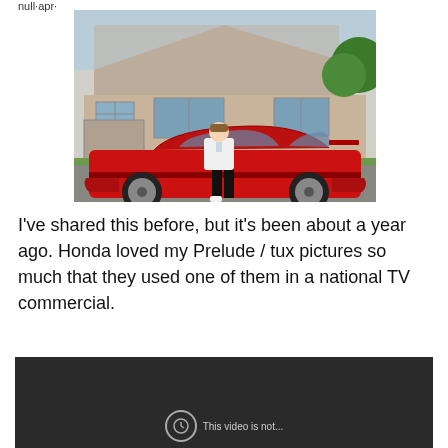null·apr·
[Figure (photo): A man in a white tuxedo jacket and black pants standing in front of a red Honda Prelude sports car in a driveway, with a large house visible in the background.]
I've shared this before, but it's been about a year ago. Honda loved my Prelude / tux pictures so much that they used one of them in a national TV commercial.
[Figure (screenshot): A dark video player embed with a circular clock/warning icon and partial text reading 'This video is not...' at the bottom.]